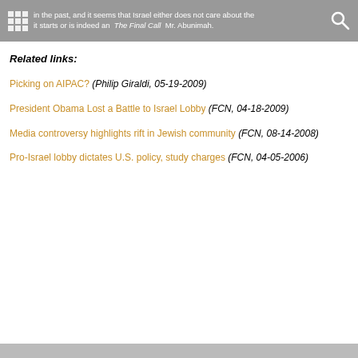in the past, and it seems that Israel either does not care about the it starts or is indeed an The Final Call Mr. Abunimah.
Related links:
Picking on AIPAC? (Philip Giraldi, 05-19-2009)
President Obama Lost a Battle to Israel Lobby (FCN, 04-18-2009)
Media controversy highlights rift in Jewish community (FCN, 08-14-2008)
Pro-Israel lobby dictates U.S. policy, study charges (FCN, 04-05-2006)